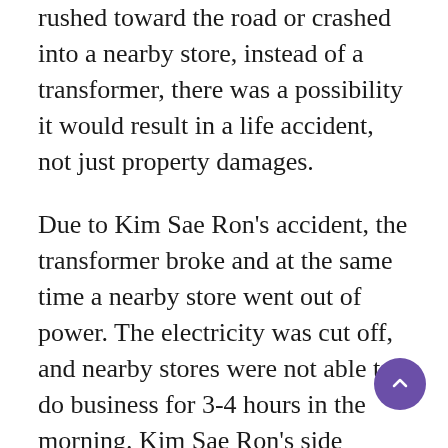rushed toward the road or crashed into a nearby store, instead of a transformer, there was a possibility it would result in a life accident, not just property damages.
Due to Kim Sae Ron's accident, the transformer broke and at the same time a nearby store went out of power. The electricity was cut off, and nearby stores were not able to do business for 3-4 hours in the morning. Kim Sae Ron's side informed KEPCO that she would compensate for the transformer she destroyed. KEPCO notified Kim Sae Ron that it would cost about 20 million won to replace the transformer, and the compensation procedure is being discussed.
Kim Sae Ron remained silent after the accident took place and only posted an apology two days later